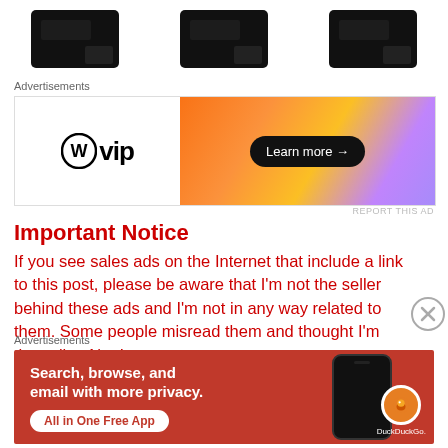[Figure (photo): Three dark/black product images (phone cases or similar) partially visible at top of page]
Advertisements
[Figure (other): WordPress VIP advertisement banner with gradient orange-to-purple background and Learn more button]
REPORT THIS AD
Important Notice
If you see sales ads on the Internet that include a link to this post, please be aware that I'm not the seller behind these ads and I'm not in any way related to them. Some people misread them and thought I'm the seller. No, I am not.
Advertisements
[Figure (other): DuckDuckGo advertisement banner with red background, phone image, and text: Search, browse, and email with more privacy. All in One Free App.]
REPORT THIS AD